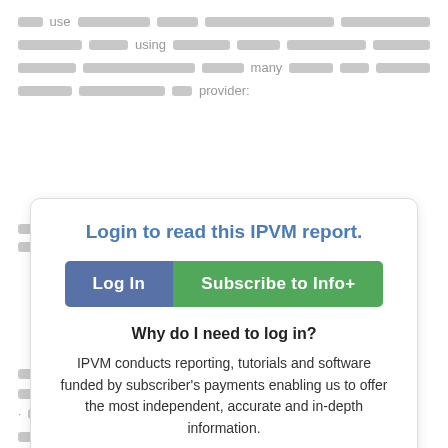use … using … many … provider:
[Figure (screenshot): Login overlay card for IPVM report with 'Log In' and 'Subscribe to Info+' buttons, and explanation text about IPVM subscriber funding.]
their … Axis